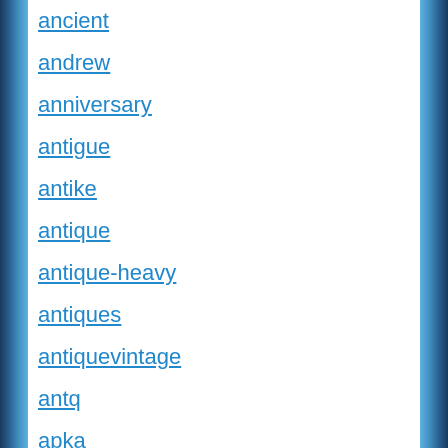ancient
andrew
anniversary
antigue
antike
antique
antique-heavy
antiques
antiquevintage
antq
apka
apmex
aragon
argent
articulated